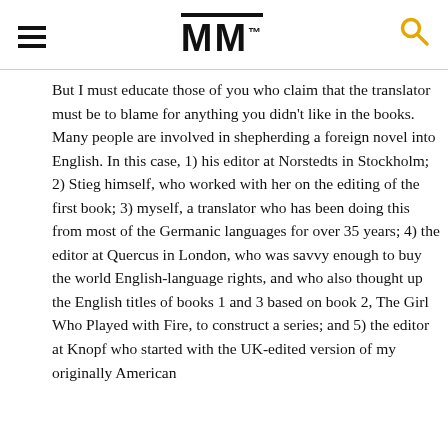MM
But I must educate those of you who claim that the translator must be to blame for anything you didn't like in the books. Many people are involved in shepherding a foreign novel into English. In this case, 1) his editor at Norstedts in Stockholm; 2) Stieg himself, who worked with her on the editing of the first book; 3) myself, a translator who has been doing this from most of the Germanic languages for over 35 years; 4) the editor at Quercus in London, who was savvy enough to buy the world English-language rights, and who also thought up the English titles of books 1 and 3 based on book 2, The Girl Who Played with Fire, to construct a series; and 5) the editor at Knopf who started with the UK-edited version of my originally American